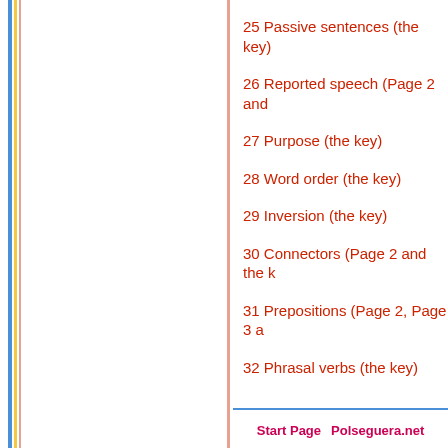25 Passive sentences (the key)
26 Reported speech (Page 2 and…
27 Purpose (the key)
28 Word order (the key)
29 Inversion (the key)
30 Connectors (Page 2 and the k…
31 Prepositions (Page 2, Page 3 a…
32 Phrasal verbs (the key)
Start Page    Polseguera.net